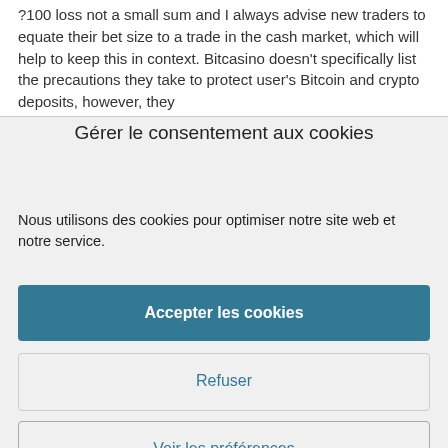?100 loss  not a small sum and I always advise new traders to equate their bet size to a trade in the cash market, which will help to keep this in context. Bitcasino doesn't specifically list the precautions they take to protect user's Bitcoin and crypto deposits, however, they
Gérer le consentement aux cookies
Nous utilisons des cookies pour optimiser notre site web et notre service.
Accepter les cookies
Refuser
Voir les préférences